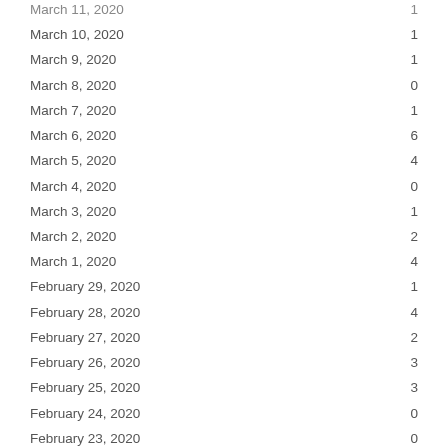| Date | Count |
| --- | --- |
| March 11, 2020 | 1 |
| March 10, 2020 | 1 |
| March 9, 2020 | 1 |
| March 8, 2020 | 0 |
| March 7, 2020 | 1 |
| March 6, 2020 | 6 |
| March 5, 2020 | 4 |
| March 4, 2020 | 0 |
| March 3, 2020 | 1 |
| March 2, 2020 | 2 |
| March 1, 2020 | 4 |
| February 29, 2020 | 1 |
| February 28, 2020 | 4 |
| February 27, 2020 | 2 |
| February 26, 2020 | 3 |
| February 25, 2020 | 3 |
| February 24, 2020 | 0 |
| February 23, 2020 | 0 |
| February 22, 2020 | 1 |
| February 21, 2020 | 2 |
| February 20, 2020 | 1 |
| February 19, 2020 | 3 |
| February 18, 2020 | 0 |
| February 17, 2020 | 2 |